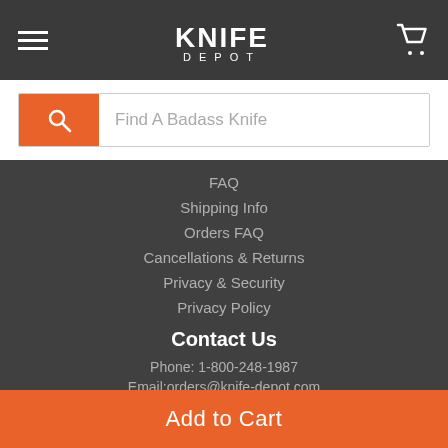Knife Depot - navigation header with hamburger menu, logo, and cart icon
Find A Badass Knife
FAQ
Shipping Info
Orders FAQ
Cancellations & Returns
Privacy & Security
Privacy Policy
Contact Us
Phone: 1-800-248-1987
Email:orders@knife-depot.com
Popular Blog Posts
10 Everyday Objects You Can Use to Sharpen a Knife
Add to Cart